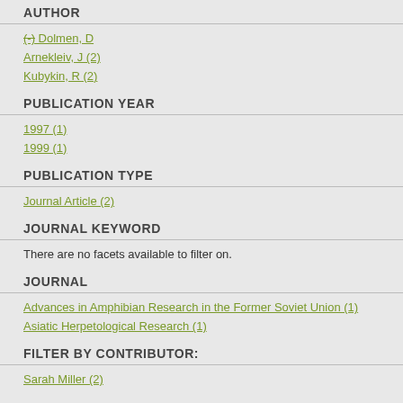AUTHOR
(-) Dolmen, D
Arnekleiv, J (2)
Kubykin, R (2)
PUBLICATION YEAR
1997 (1)
1999 (1)
PUBLICATION TYPE
Journal Article (2)
JOURNAL KEYWORD
There are no facets available to filter on.
JOURNAL
Advances in Amphibian Research in the Former Soviet Union (1)
Asiatic Herpetological Research (1)
FILTER BY CONTRIBUTOR:
Sarah Miller (2)